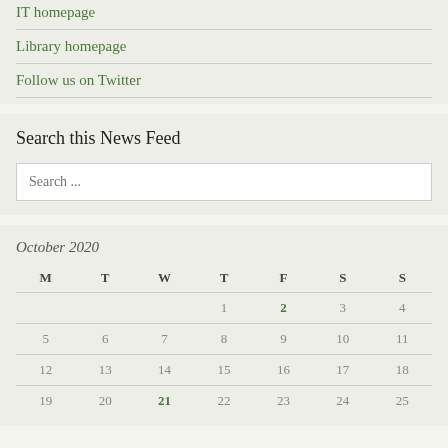IT homepage
Library homepage
Follow us on Twitter
Search this News Feed
Search ...
October 2020
| M | T | W | T | F | S | S |
| --- | --- | --- | --- | --- | --- | --- |
|  |  |  | 1 | 2 | 3 | 4 |
| 5 | 6 | 7 | 8 | 9 | 10 | 11 |
| 12 | 13 | 14 | 15 | 16 | 17 | 18 |
| 19 | 20 | 21 | 22 | 23 | 24 | 25 |